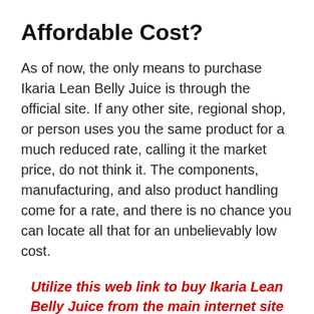Affordable Cost?
As of now, the only means to purchase Ikaria Lean Belly Juice is through the official site. If any other site, regional shop, or person uses you the same product for a much reduced rate, calling it the market price, do not think it. The components, manufacturing, and also product handling come for a rate, and there is no chance you can locate all that for an unbelievably low cost.
Utilize this web link to buy Ikaria Lean Belly Juice from the main internet site directly.
Buying from the company straight gets you the authentic product and also you are entitled to